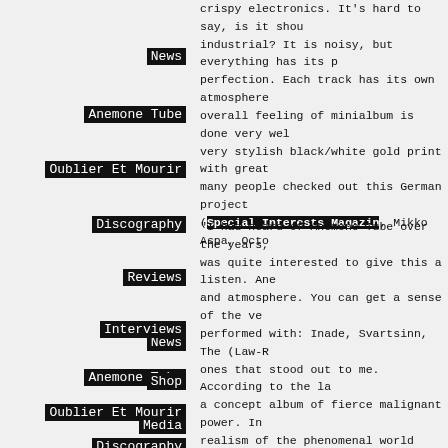crispy electronics. It's hard to say, is it shou industrial? It is noisy, but everything has its p perfection. Each track has its own atmosphere overall feeling of minialbum is done very wel very stylish black/white gold print with great many people checked out this German project (Special Interests Magazin, Mikko Aspa, Octo
News
Anemone Tube
Oublier Et Mourir
Discography
Reviews
Interviews
Shop
Media
Live
"I had heard of Anemone Tube over the years, was quite interested to give this a listen. Ane and atmosphere. You can get a sense of the ve performed with: Inade, Svartsinn, The (Law-R ones that stood out to me. According to the la a concept album of fierce malignant power. In realism of the phenomenal world with buddhis the visionary authors H.P. Lovecraft and Yuki had a hard time finding the concept in it. For constructed noise music that is not overly har not noisy enough but you think that Merzbou Anemone Tube is definitely the band for you. Daniel Menche probably already have this, bu with this is that it is rather short, weighing in This album is packaged with a bonus DVD tha video artist Gustavo de Lacerda and Anemone experimental film made in Rotterdam. The sou made in Nanjing and Shanghai. Conceptually, at the same time each day and then edit it tog